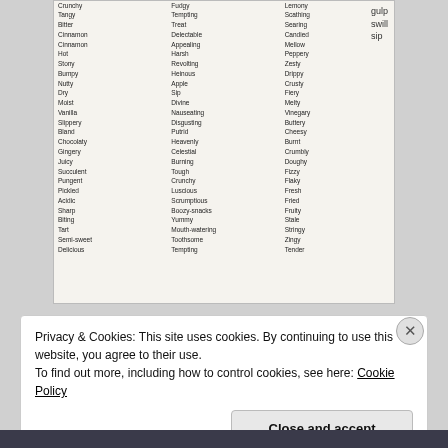[Figure (photo): Photograph of a handwritten/printed word list on paper with three columns of food/taste descriptor words. Handwritten annotations in top right corner reading 'gulp', 'swill', 'sip'.]
Privacy & Cookies: This site uses cookies. By continuing to use this website, you agree to their use.
To find out more, including how to control cookies, see here: Cookie Policy